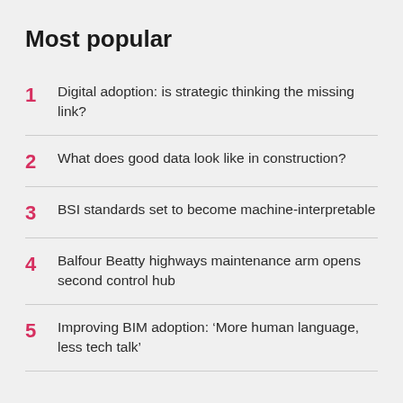Most popular
1 Digital adoption: is strategic thinking the missing link?
2 What does good data look like in construction?
3 BSI standards set to become machine-interpretable
4 Balfour Beatty highways maintenance arm opens second control hub
5 Improving BIM adoption: ‘More human language, less tech talk’